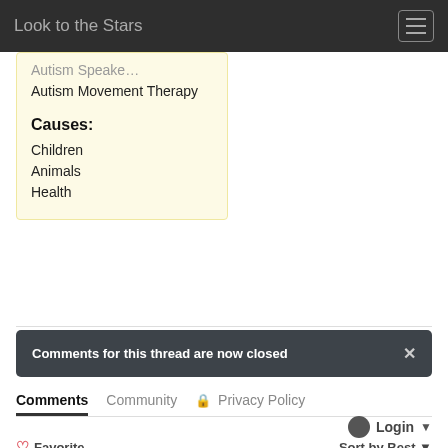Look to the Stars
Autism Movement Therapy
Causes:
Children
Animals
Health
Comments for this thread are now closed
Comments   Community   Privacy Policy
Login
Favorite   Sort by Best